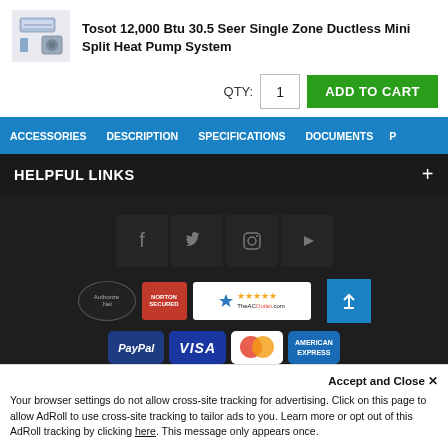[Figure (photo): Mini split heat pump product image thumbnail]
Tosot 12,000 Btu 30.5 Seer Single Zone Ductless Mini Split Heat Pump System
QTY: 1  ADD TO CART
ACCESSORIES   DESCRIPTION   SPECIFICATIONS   DOCUMENTS   P
HELPFUL LINKS
[Figure (logo): Social media icons: Facebook, Twitter, Instagram, YouTube]
[Figure (logo): Trust badges: Authorize.Net, Norton Secured, Shopper Approved with 5 stars. Payment methods: PayPal, Visa, Mastercard, American Express]
Accept and Close ✕
Your browser settings do not allow cross-site tracking for advertising. Click on this page to allow AdRoll to use cross-site tracking to tailor ads to you. Learn more or opt out of this AdRoll tracking by clicking here. This message only appears once.